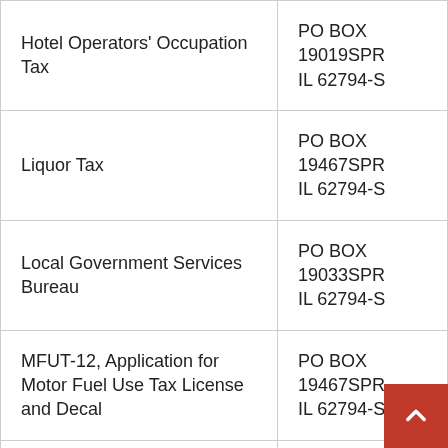| Hotel Operators' Occupation Tax | PO BOX 19019SPR IL 62794-S |
| Liquor Tax | PO BOX 19467SPR IL 62794-S |
| Local Government Services Bureau | PO BOX 19033SPR IL 62794-S |
| MFUT-12, Application for Motor Fuel Use Tax License and Decal | PO BOX 19467SPR IL 62794-S |
| RMFT-5, Motor Fuel Distributor/Supplier Tax Return | PO BOX 19467SPR IL 62794-S |